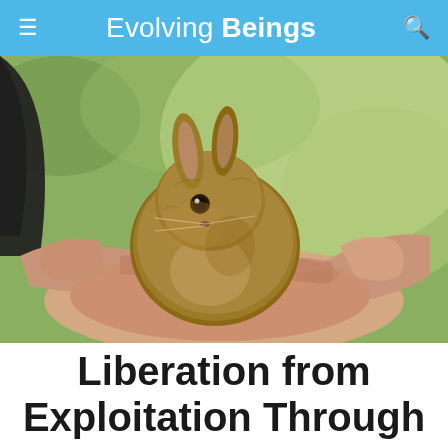Evolving Beings
[Figure (photo): A small baby rabbit (cottontail) cradled in a pair of human hands, held gently. The background is a blurred green outdoor setting. The rabbit faces the camera with visible eye and ears upright.]
Liberation from Exploitation Through